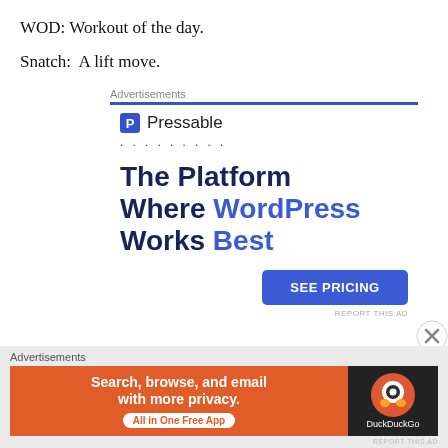WOD: Workout of the day.
Snatch:  A lift move.
Advertisements
[Figure (infographic): Pressable advertisement banner. Shows the Pressable P logo, dotted line, large headline text 'The Platform Where WordPress Works Best' with WordPress in blue, and a blue 'SEE PRICING' button.]
REPORT THIS AD
Advertisements
[Figure (infographic): DuckDuckGo advertisement banner. Orange left section with text 'Search, browse, and email with more privacy.' and white pill button 'All in One Free App'. Dark right section with DuckDuckGo logo and name.]